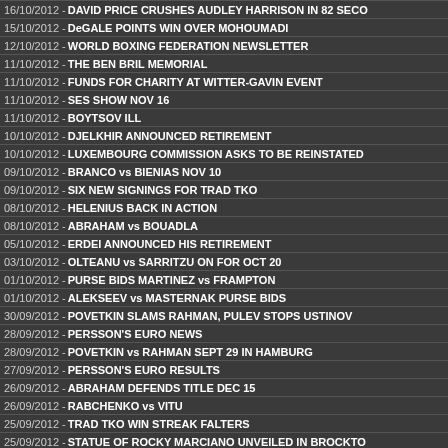16/10/2012 - DAVID PRICE CRUSHES AUDLEY HARRISON IN 82 SECO...
15/10/2012 - DeGALE POINTS WIN OVER MOHOUMADI
12/10/2012 - WORLD BOXING FEDERATION NEWSLETTER
11/10/2012 - THE BEN BRIL MEMORIAL
11/10/2012 - FUNDS FOR CHARITY AT WITTER-GAVIN EVENT
11/10/2012 - SES SHOW NOV 16
11/10/2012 - BOYTSOV ILL
10/10/2012 - DJELKHIR ANNOUNCED RETIREMENT
10/10/2012 - LUXEMBOURG COMMISSION ASKS TO BE REINSTATED
09/10/2012 - BRANCO vs BIENIAS NOV 10
09/10/2012 - SIX NEW SIGNINGS FOR TRAD TKO
08/10/2012 - HELENIUS BACK IN ACTION
08/10/2012 - ABRAHAM vs BOUADLA
05/10/2012 - ERDEI ANNOUNCED HIS RETIREMENT
03/10/2012 - OLTEANU vs SARRITZU ON FOR OCT 20
01/10/2012 - PURSE BIDS MARTINEZ vs FRAMPTON
01/10/2012 - ALEKSEEV vs MASTERNAK PURSE BIDS
30/09/2012 - POVETKIN SLAMS RAHMAN, PULEV STOPS USTINOV
28/09/2012 - PERSSON'S EURO NEWS
28/09/2012 - POVETKIN vs RAHMAN SEPT 29 IN HAMBURG
27/09/2012 - PERSSON'S EURO RESULTS
26/09/2012 - ABRAHAM DEFENDS TITLE DEC 15
26/09/2012 - RABCHENKO vs VITU
25/09/2012 - TRAD TKO WIN STREAK FALTERS
25/09/2012 - STATUE OF ROCKY MARCIANO UNVEILED IN BROCKTO...
24/09/2012 - PERSSON'S EURO NEWS
24/09/2012 - BRAEKHUS RETAINS TITLE AGAINST MATHIS